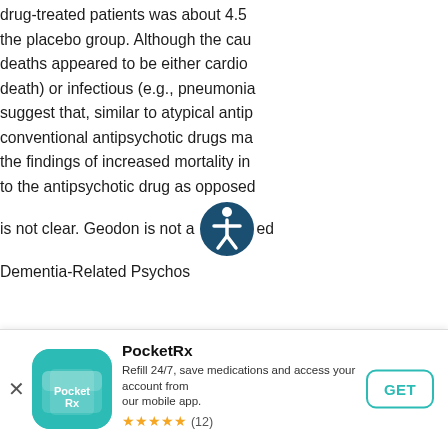drug-treated patients was about 4.5% the placebo group. Although the causes deaths appeared to be either cardiovascular death) or infectious (e.g., pneumonia, suggest that, similar to atypical antipsychotics, conventional antipsychotic drugs may increase the findings of increased mortality in to the antipsychotic drug as opposed is not clear. Geodon is not approved Dementia-Related Psychosis
Contributors
[Figure (other): Accessibility icon — circular badge with wheelchair user symbol in white on dark teal/navy background]
[Figure (other): PocketRx app banner at bottom: teal rounded square app icon with PocketRx logo, app name PocketRx, description 'Refill 24/7, save medications and access your account from our mobile app.', 5 gold stars with (12) rating, GET button with teal border. X close button on left.]